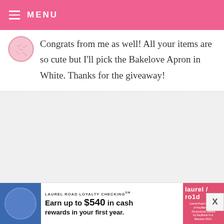MENU
Congrats from me as well! All your items are so cute but I'll pick the Bakelove Apron in White. Thanks for the giveaway!
WILDTHAYN — FEBRUARY 8, 2009 @ 2:24 PM
Great giveaway!! Taste of home is a fun magazine!! I like the pink apron!
Sarah
LAUREL ROAD LOYALTY CHECKING℠ Earn up to $540 in cash rewards in your first year.